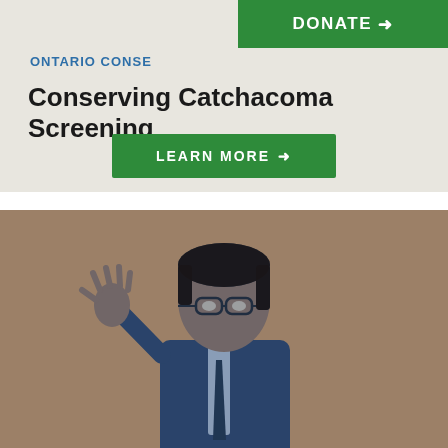DONATE →
ONTARIO CONSE
Conserving Catchacoma Screening
LEARN MORE →
[Figure (photo): A man with glasses and dark hair in a suit, gesturing with one hand raised, against an orange/amber background with a blue duotone treatment on the figure.]